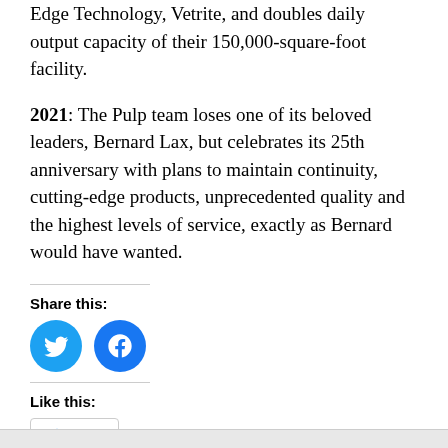Edge Technology, Vetrite, and doubles daily output capacity of their 150,000-square-foot facility.
2021: The Pulp team loses one of its beloved leaders, Bernard Lax, but celebrates its 25th anniversary with plans to maintain continuity, cutting-edge products, unprecedented quality and the highest levels of service, exactly as Bernard would have wanted.
Share this:
[Figure (infographic): Twitter and Facebook share buttons as circular blue icons]
Like this:
[Figure (infographic): A Like button widget with a star icon and text 'Like', followed by 'Be the first to like this.']